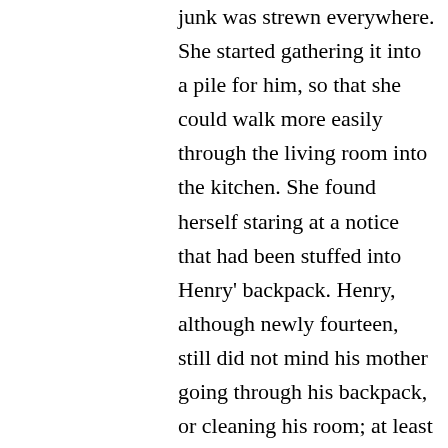junk was strewn everywhere. She started gathering it into a pile for him, so that she could walk more easily through the living room into the kitchen. She found herself staring at a notice that had been stuffed into Henry' backpack. Henry, although newly fourteen, still did not mind his mother going through his backpack, or cleaning his room; at least she thought he didn't. Her hand pushed aside a half-pack of Juicy Fruit gum (were they allowed to chew gum in school these days?), a crumbled lunch